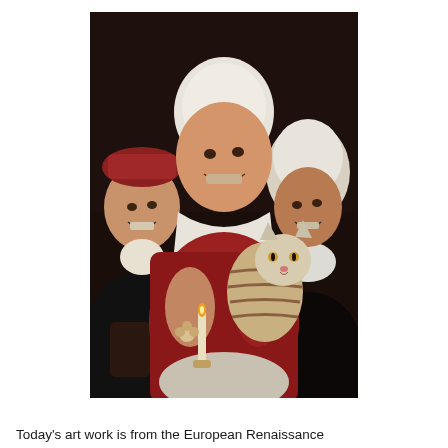[Figure (illustration): European Renaissance oil painting showing three figures: a woman in red dress holding a cat in the center, a man with a red hat on the left, and an older woman with a white head covering on the right. A candle is visible in the lower left area.]
Today's art work is from the European Renaissance